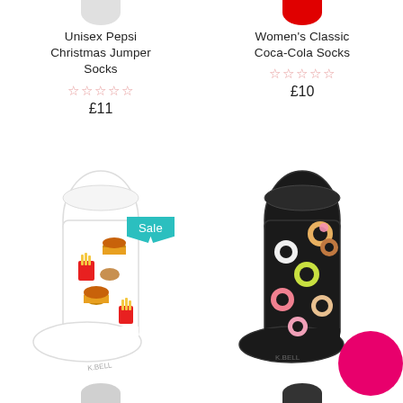[Figure (photo): Partial gray circle at top left (product image placeholder)]
[Figure (photo): Partial red circle at top right (product image placeholder)]
Unisex Pepsi Christmas Jumper Socks
★★★★★ (empty stars)
£11
Women's Classic Coca-Cola Socks
★★★★★ (empty stars)
£10
[Figure (photo): White sock with fast food (burgers, fries) pattern on left, with a teal Sale badge]
[Figure (photo): Black sock with donut pattern on right, with pink chat bubble circle]